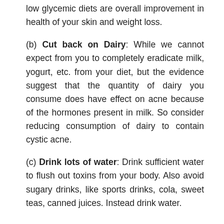low glycemic diets are overall improvement in health of your skin and weight loss.
(b) Cut back on Dairy: While we cannot expect from you to completely eradicate milk, yogurt, etc. from your diet, but the evidence suggest that the quantity of dairy you consume does have effect on acne because of the hormones present in milk. So consider reducing consumption of dairy to contain cystic acne.
(c) Drink lots of water: Drink sufficient water to flush out toxins from your body. Also avoid sugary drinks, like sports drinks, cola, sweet teas, canned juices. Instead drink water.